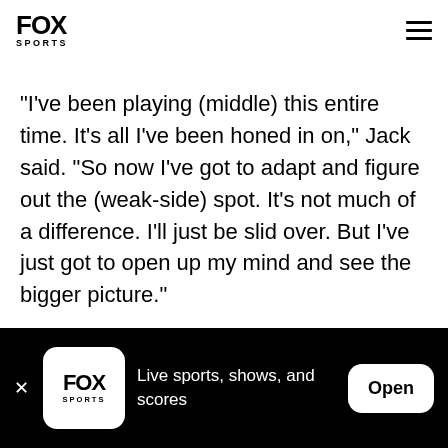FOX SPORTS
"I've been playing (middle) this entire time. It's all I've been honed in on," Jack said. "So now I've got to adapt and figure out the (weak-side) spot. It's not much of a difference. I'll just be slid over. But I've just got to open up my mind and see the bigger picture."
Jack's versatility was one of his most notable attributes in college. He played linebacker and
FOX SPORTS — Live sports, shows, and scores — Open